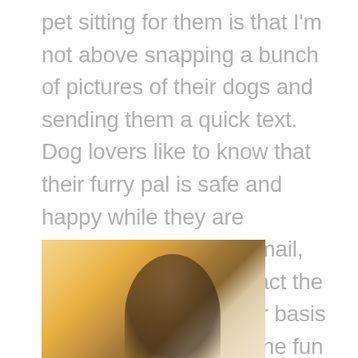pet sitting for them is that I'm not above snapping a bunch of pictures of their dogs and sending them a quick text. Dog lovers like to know that their furry pal is safe and happy while they are traveling. If you can, email, text, or otherwise contact the dog owner on a regular basis while they are gone. One fun way to do this may be to send them a picture or an update on social media, which they may be more willing to check than their email on a vacation. This also ensures that you can get quick advice should any emergencies arise while they are away. Don't interrupt their hard-earned vacation, of course, but do have a way to get in contact with them.
[Figure (photo): A person with curly hair photographed in warm golden backlit outdoor sunlight, soft focus background with trees.]